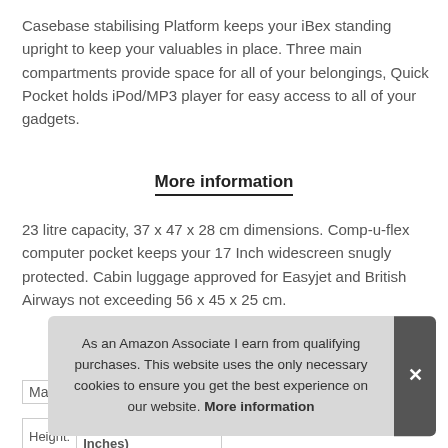Casebase stabilising Platform keeps your iBex standing upright to keep your valuables in place. Three main compartments provide space for all of your belongings, Quick Pocket holds iPod/MP3 player for easy access to all of your gadgets.
More information
23 litre capacity, 37 x 47 x 28 cm dimensions. Comp-u-flex computer pocket keeps your 17 Inch widescreen snugly protected. Cabin luggage approved for Easyjet and British Airways not exceeding 56 x 45 x 25 cm.
As an Amazon Associate I earn from qualifying purchases. This website uses the only necessary cookies to ensure you get the best experience on our website. More information
| Ma |
| Height: | 37.08 cm (14.6 Inches) |